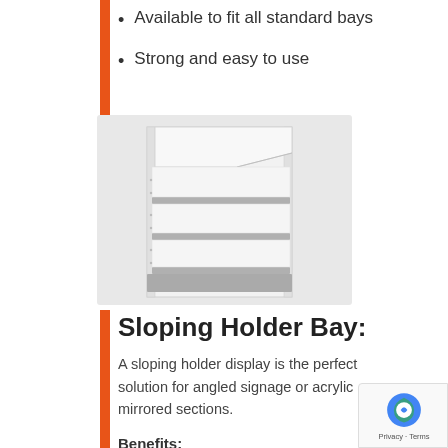Available to fit all standard bays
Strong and easy to use
[Figure (photo): A white retail shelving bay unit with multiple shelves and a sloped header sign holder at the top, displayed against a light grey background.]
Sloping Holder Bay:
A sloping holder display is the perfect solution for angled signage or acrylic mirrored sections.
Benefits: